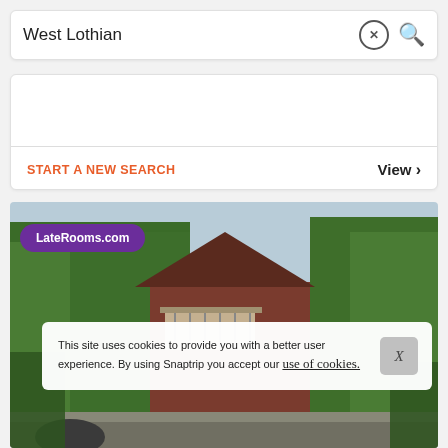West Lothian
START A NEW SEARCH
View ›
[Figure (photo): Exterior photo of a wooden chalet/house with a balcony surrounded by green trees, with LateRooms.com logo badge in the upper left]
This site uses cookies to provide you with a better user experience. By using Snaptrip you accept our use of cookies.